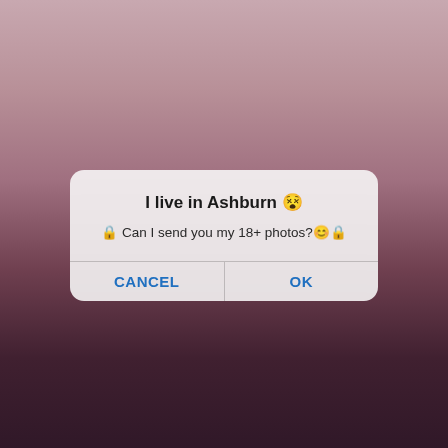[Figure (photo): A person in a red latex costume with orange hair and a red headpiece, posed in a room with pictures on the wall and a bed visible in the background. A dialog box overlay is visible in the center of the image.]
I live in Ashburn 😵
🔒 Can I send you my 18+ photos?😊🔒
CANCEL
OK